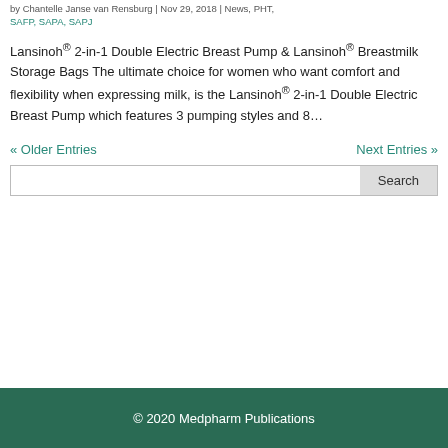by Chantelle Janse van Rensburg | Nov 29, 2018 | News, PHT, SAFP, SAPA, SAPJ
Lansinoh® 2-in-1 Double Electric Breast Pump & Lansinoh® Breastmilk Storage Bags The ultimate choice for women who want comfort and flexibility when expressing milk, is the Lansinoh® 2-in-1 Double Electric Breast Pump which features 3 pumping styles and 8...
« Older Entries
Next Entries »
© 2020 Medpharm Publications